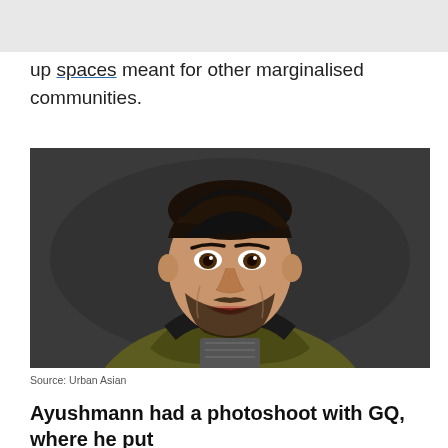up spaces meant for other marginalised communities.
[Figure (photo): Portrait of Ayushmann Khurrana, a man with dark hair and beard, smiling, wearing a dark hoodie and olive/khaki jacket, against a dark studio background. Source: Urban Asian]
Source: Urban Asian
Ayushmann had a photoshoot with GQ, where he put